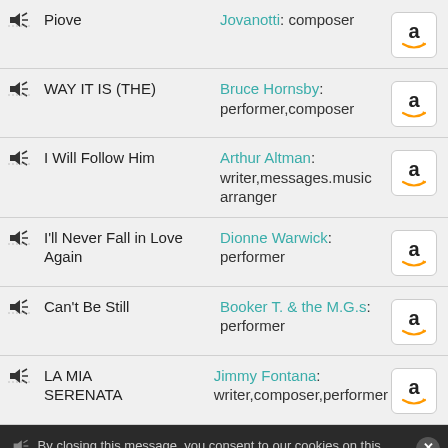Piove | Jovanotti: composer
WAY IT IS (THE) | Bruce Hornsby: performer,composer
I Will Follow Him | Arthur Altman: writer,messages.music arranger
I'll Never Fall in Love Again | Dionne Warwick: performer
Can't Be Still | Booker T. & the M.G.s: performer
LA MIA SERENATA | Jimmy Fontana: writer,composer,performer
By closing this message, you consent to our cookies on this device in accordance with our cookie policy unless you have disabled them - Cookie policy
Just a Little Bit | Rosco Gordon: writer